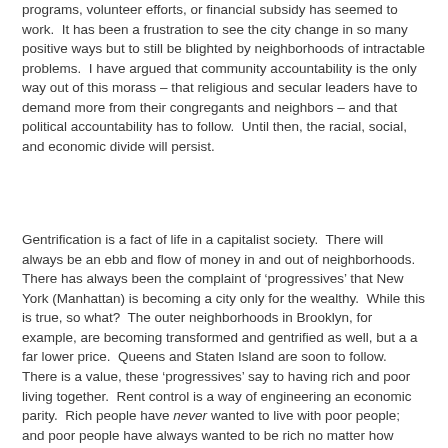programs, volunteer efforts, or financial subsidy has seemed to work.  It has been a frustration to see the city change in so many positive ways but to still be blighted by neighborhoods of intractable problems.  I have argued that community accountability is the only way out of this morass – that religious and secular leaders have to demand more from their congregants and neighbors – and that political accountability has to follow.  Until then, the racial, social, and economic divide will persist.
Gentrification is a fact of life in a capitalist society.  There will always be an ebb and flow of money in and out of neighborhoods.  There has always been the complaint of 'progressives' that New York (Manhattan) is becoming a city only for the wealthy.  While this is true, so what?  The outer neighborhoods in Brooklyn, for example, are becoming transformed and gentrified as well, but a a far lower price.  Queens and Staten Island are soon to follow.  There is a value, these 'progressives' say to having rich and poor living together.  Rent control is a way of engineering an economic parity.  Rich people have never wanted to live with poor people; and poor people have always wanted to be rich no matter how society may try to engineer things differently.